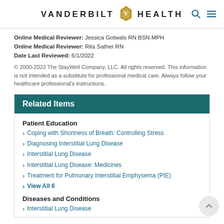VANDERBILT HEALTH
Online Medical Reviewer: Jessica Gotwals RN BSN MPH
Online Medical Reviewer: Rita Sather RN
Date Last Reviewed: 6/1/2022
© 2000-2022 The StayWell Company, LLC. All rights reserved. This information is not intended as a substitute for professional medical care. Always follow your healthcare professional's instructions.
Related Items
Patient Education
Coping with Shortness of Breath: Controlling Stress
Diagnosing Interstitial Lung Disease
Interstitial Lung Disease
Interstitial Lung Disease: Medicines
Treatment for Pulmonary Interstitial Emphysema (PIE)
View All 6
Diseases and Conditions
Interstitial Lung Disease